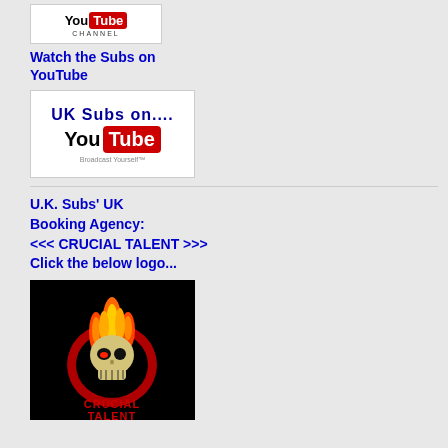[Figure (logo): YouTube Channel logo - showing 'You' and red 'Tube' box with 'CHANNEL' text below]
Watch the Subs on YouTube
[Figure (logo): UK Subs on YouTube banner - shows 'UK Subs on...' text above YouTube logo with 'Broadcast Yourself' tagline]
U.K. Subs' UK Booking Agency:
<<< CRUCIAL TALENT >>>
Click the below logo...
[Figure (logo): Crucial Talent logo on black background - skull with flames on top and red 'CRUCIAL TALENT' text below]